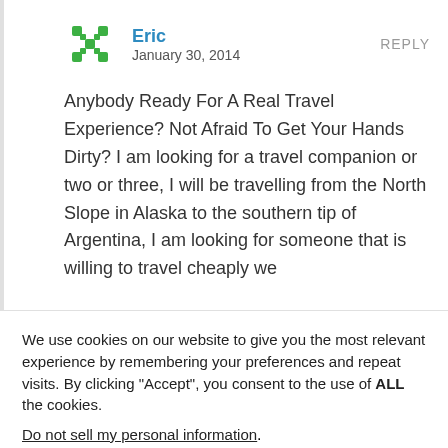[Figure (logo): Green cross/asterisk avatar icon for user Eric]
Eric
January 30, 2014
REPLY
Anybody Ready For A Real Travel Experience? Not Afraid To Get Your Hands Dirty? I am looking for a travel companion or two or three, I will be travelling from the North Slope in Alaska to the southern tip of Argentina, I am looking for someone that is willing to travel cheaply we
We use cookies on our website to give you the most relevant experience by remembering your preferences and repeat visits. By clicking “Accept”, you consent to the use of ALL the cookies.
Do not sell my personal information.
Cookie Settings
Accept